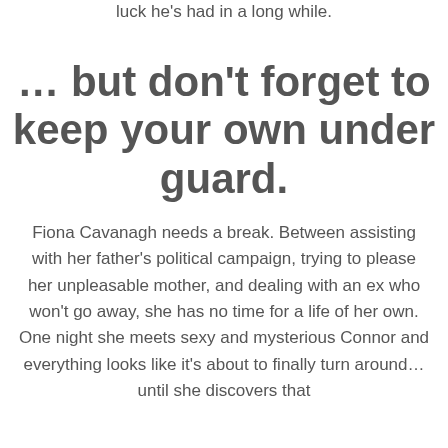luck he's had in a long while.
… but don't forget to keep your own under guard.
Fiona Cavanagh needs a break. Between assisting with her father's political campaign, trying to please her unpleasable mother, and dealing with an ex who won't go away, she has no time for a life of her own. One night she meets sexy and mysterious Connor and everything looks like it's about to finally turn around… until she discovers that